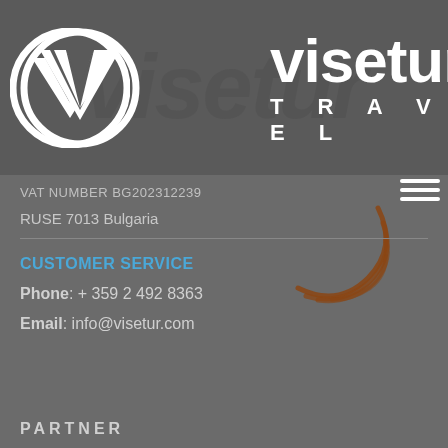[Figure (logo): Visetur Travel logo: circular V emblem in white on dark grey background with company name 'visetur TRAVEL' in white text]
VAT NUMBER BG202312239
RUSE 7013 Bulgaria
CUSTOMER SERVICE
Phone: + 359 2 492 8363
Email: info@visetur.com
PARTNER